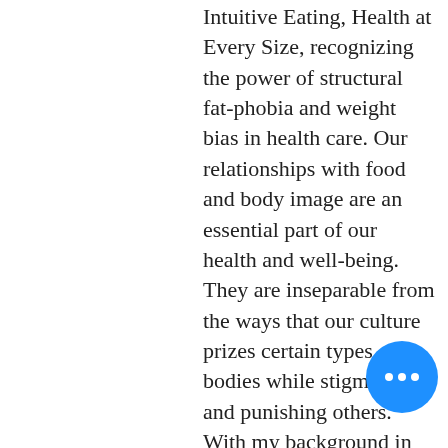Intuitive Eating, Health at Every Size, recognizing the power of structural fat-phobia and weight bias in health care. Our relationships with food and body image are an essential part of our health and well-being. They are inseparable from the ways that our culture prizes certain types of bodies while stigmatizing and punishing others. With my background in history and gender studies, I view diet culture and thin privilege as inseparable from other systems of oppression including white supremacy, patriarchy, colonialism, and the oppression of LGBTQ people.
I've trained in Somatic Experiencing, Polyvagal Theory, and Internal Family Systems. I'm now pursuing certification in